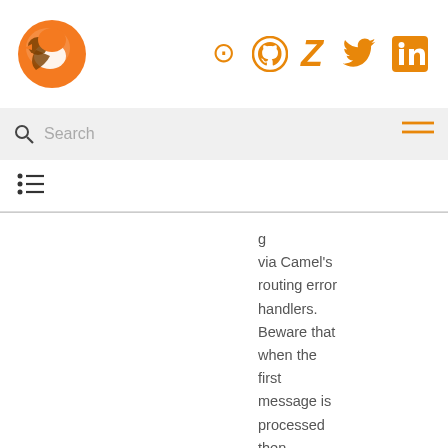[Figure (logo): Apache Camel orange fox/bird logo]
[Figure (infographic): Social media icons: GitHub, Zulip, Twitter, LinkedIn in orange]
Search
[Figure (infographic): Hamburger menu icon (three horizontal lines in orange)]
[Figure (infographic): Table of contents list icon]
via Camel's routing error handlers. Beware that when the first message is processed then creating and starting the producer